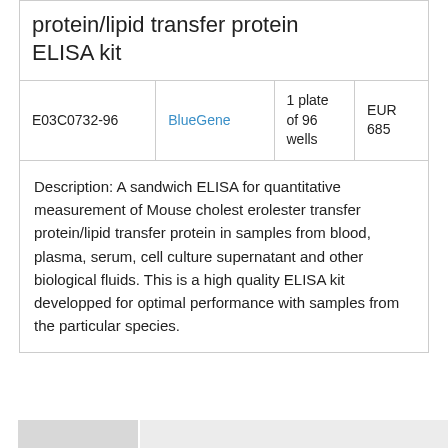protein/lipid transfer protein ELISA kit
|  |  |  |  |
| --- | --- | --- | --- |
| E03C0732-96 | BlueGene | 1 plate of 96 wells | EUR 685 |
Description: A sandwich ELISA for quantitative measurement of Mouse cholesterolester transfer protein/lipid transfer protein in samples from blood, plasma, serum, cell culture supernatant and other biological fluids. This is a high quality ELISA kit developped for optimal performance with samples from the particular species.